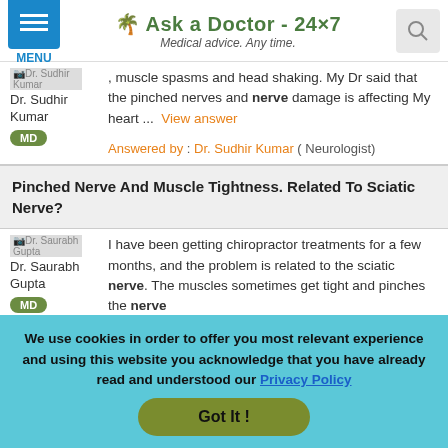Ask a Doctor - 24x7 | Medical advice. Any time.
, muscle spasms and head shaking. My Dr said that the pinched nerves and nerve damage is affecting My heart ... View answer
Answered by : Dr. Sudhir Kumar ( Neurologist)
Pinched Nerve And Muscle Tightness. Related To Sciatic Nerve?
I have been getting chiropractor treatments for a few months, and the problem is related to the sciatic nerve. The muscles sometimes get tight and pinches the nerve
We use cookies in order to offer you most relevant experience and using this website you acknowledge that you have already read and understood our Privacy Policy
Got It !